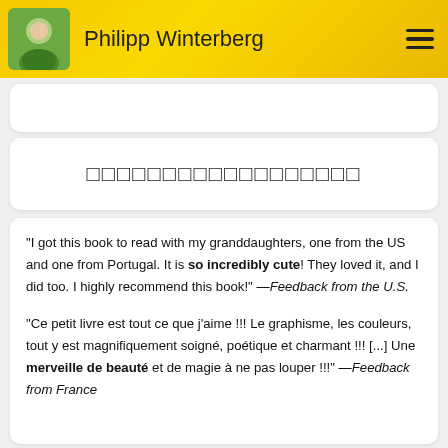Philipp Winterberg
□□□□□□□□□□□□□□□□□□
"I got this book to read with my granddaughters, one from the US and one from Portugal. It is so incredibly cute! They loved it, and I did too. I highly recommend this book!" —Feedback from the U.S.
"Ce petit livre est tout ce que j'aime !!! Le graphisme, les couleurs, tout y est magnifiquement soigné, poétique et charmant !!! [...] Une merveille de beauté et de magie à ne pas louper !!!" —Feedback from France